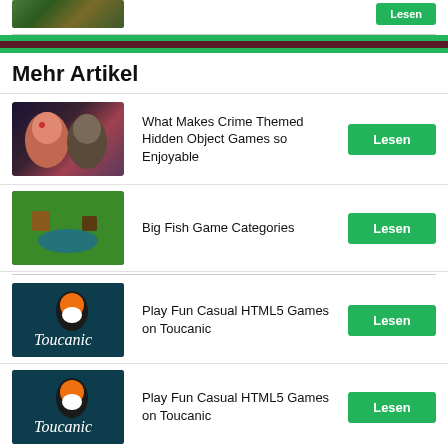[Figure (photo): Partial game thumbnail image at top left]
Mehr Artikel
[Figure (photo): Crime themed hidden object game thumbnail with two characters]
What Makes Crime Themed Hidden Object Games so Enjoyable
[Figure (photo): Big Fish game categories thumbnail with colorful game scene]
Big Fish Game Categories
[Figure (photo): Toucanic logo with toucan bird on dark teal background]
Play Fun Casual HTML5 Games on Toucanic
[Figure (photo): Toucanic logo with toucan bird on dark teal background]
Play Fun Casual HTML5 Games on Toucanic
[Figure (photo): Combo 8 Match-3 game thumbnail]
3 Match-3 Games with Unique Mechanics